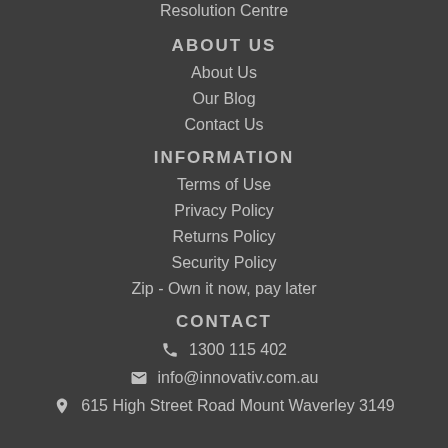Resolution Centre
ABOUT US
About Us
Our Blog
Contact Us
INFORMATION
Terms of Use
Privacy Policy
Returns Policy
Security Policy
Zip - Own it now, pay later
CONTACT
☎ 1300 115 402
✉ info@innovativ.com.au
📍 615 High Street Road Mount Waverley 3149